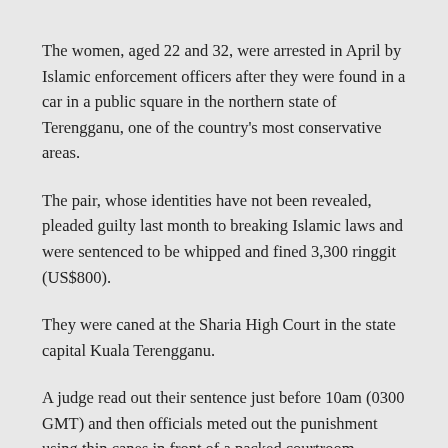The women, aged 22 and 32, were arrested in April by Islamic enforcement officers after they were found in a car in a public square in the northern state of Terengganu, one of the country's most conservative areas.
The pair, whose identities have not been revealed, pleaded guilty last month to breaking Islamic laws and were sentenced to be whipped and fined 3,300 ringgit (US$800).
They were caned at the Sharia High Court in the state capital Kuala Terengganu.
A judge read out their sentence just before 10am (0300 GMT) and then officials meted out the punishment using thin canes in front of a packed courtroom, according to a journalist in the court.
[...]